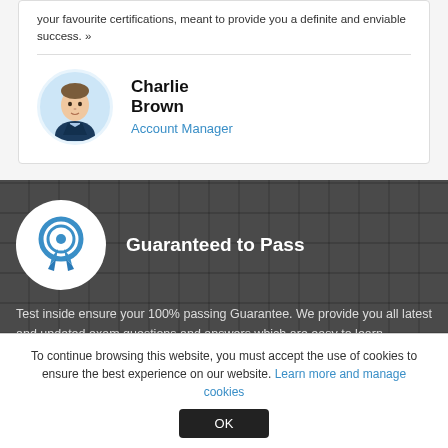your favourite certifications, meant to provide you a definite and enviable success. »
[Figure (photo): Profile photo of Charlie Brown, a man in a suit, shown in a circular avatar with light blue background]
Charlie Brown
Account Manager
[Figure (illustration): Blue ribbon/badge award icon inside a white circle on dark tiled background]
Guaranteed to Pass
Test inside ensure your 100% passing Guarantee. We provide you all latest and updated exam questions and answers which are easy to learn
To continue browsing this website, you must accept the use of cookies to ensure the best experience on our website. Learn more and manage cookies
OK